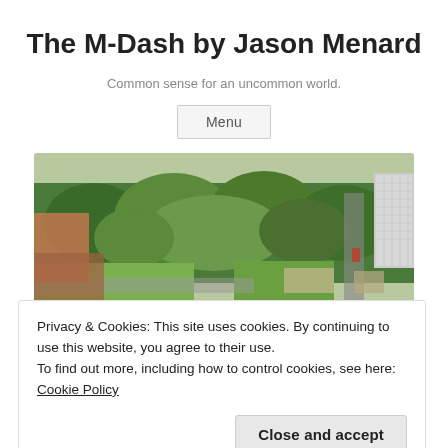The M-Dash by Jason Menard
Common sense for an uncommon world.
Menu
[Figure (photo): Aerial view of a city park with green trees and buildings visible on the right side]
Privacy & Cookies: This site uses cookies. By continuing to use this website, you agree to their use.
To find out more, including how to control cookies, see here: Cookie Policy
Close and accept
Absolute